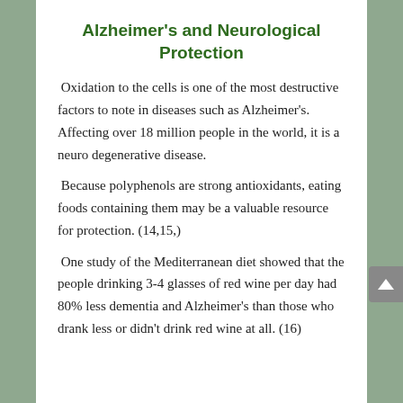Alzheimer's and Neurological Protection
Oxidation to the cells is one of the most destructive factors to note in diseases such as Alzheimer's. Affecting over 18 million people in the world, it is a neuro degenerative disease.
Because polyphenols are strong antioxidants, eating foods containing them may be a valuable resource for protection. (14,15,)
One study of the Mediterranean diet showed that the people drinking 3-4 glasses of red wine per day had 80% less dementia and Alzheimer's than those who drank less or didn't drink red wine at all. (16)